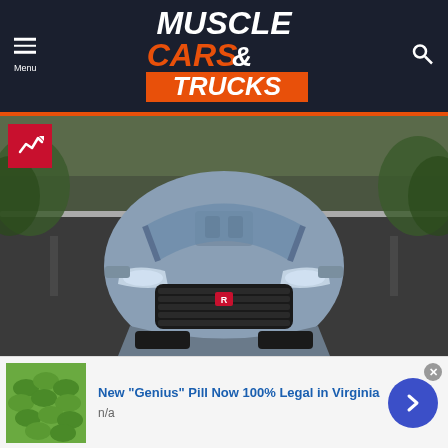Muscle Cars & Trucks — Menu / Search header
[Figure (logo): Muscle Cars & Trucks logo — white bold italic text with orange highlights on dark navy background]
[Figure (photo): Front view of a silver/blue Dodge Charger or similar muscle car driving on a road with trees in background. Red badge/emblem on grille. Trending icon badge in top-left corner.]
New "Genius" Pill Now 100% Legal in Virginia
n/a